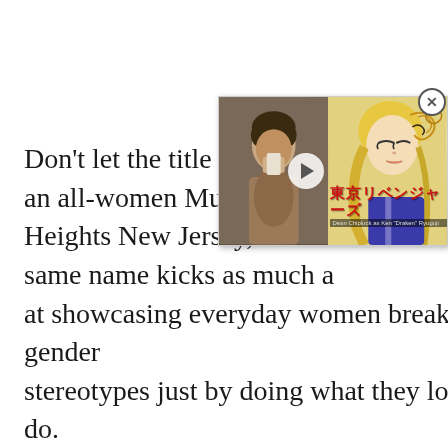Don't let the title fool you; an all-women Muay Thai ki... Heights New Jersey, and the... same name kicks as much a... at showcasing everyday women breaking gender stereotypes just by doing what they love to do.
[Figure (screenshot): Video overlay popup showing a live-action person on the left half and an anime character on the right half, with a play button in the center and Tokyo Revengers (東京リベンジャーズ) anime text overlay at the bottom, and a close (X) button at the top right corner.]
ADVERTISEMENT